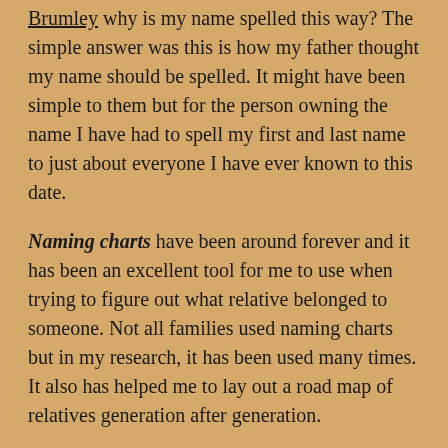Brumley why is my name spelled this way? The simple answer was this is how my father thought my name should be spelled. It might have been simple to them but for the person owning the name I have had to spell my first and last name to just about everyone I have ever known to this date.
Naming charts have been around forever and it has been an excellent tool for me to use when trying to figure out what relative belonged to someone. Not all families used naming charts but in my research, it has been used many times. It also has helped me to lay out a road map of relatives generation after generation.
You will often see the same names used over and over again in families. While certain names are popular in different areas at different times in history, the repetition could represent a pattern. Many cultures believe in honoring their elders and do so by naming children after